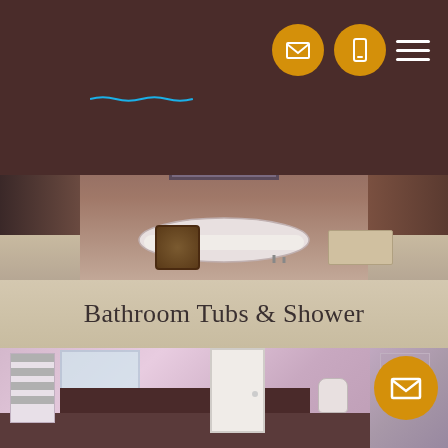[Figure (logo): Bathroom Remodel Wichita logo with circular film reel icon in orange and blue text]
[Figure (photo): Elegant bathroom with freestanding clawfoot bathtub on marble floor, wooden window in background, stool on right]
Bathroom Tubs & Shower
[Figure (photo): Pink-tiled modern bathroom with towel rail, mirror, double vanity with dark cabinet, white door, toilet and bidet visible]